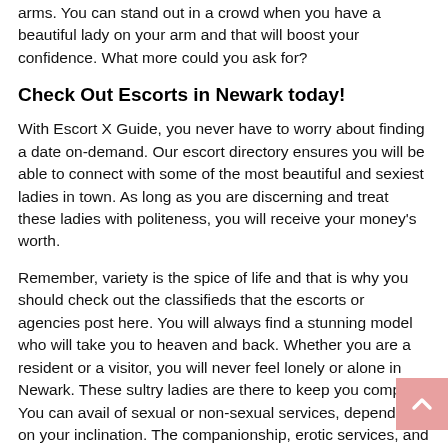arms. You can stand out in a crowd when you have a beautiful lady on your arm and that will boost your confidence. What more could you ask for?
Check Out Escorts in Newark today!
With Escort X Guide, you never have to worry about finding a date on-demand. Our escort directory ensures you will be able to connect with some of the most beautiful and sexiest ladies in town. As long as you are discerning and treat these ladies with politeness, you will receive your money's worth.
Remember, variety is the spice of life and that is why you should check out the classifieds that the escorts or agencies post here. You will always find a stunning model who will take you to heaven and back. Whether you are a resident or a visitor, you will never feel lonely or alone in Newark. These sultry ladies are there to keep you company. You can avail of sexual or non-sexual services, depending on your inclination. The companionship, erotic services, and entertainment that you can find through Escort X Guide make it worthwhile to browse through the listings and choose an escort in Newark.